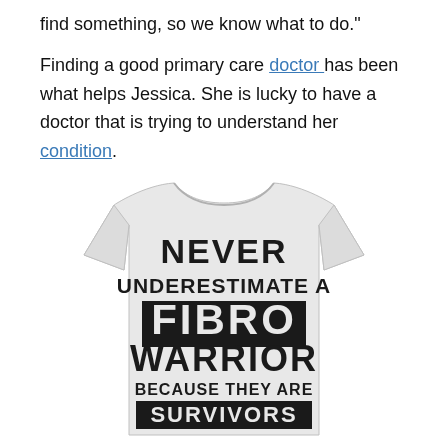find something, so we know what to do."

Finding a good primary care doctor has been what helps Jessica. She is lucky to have a doctor that is trying to understand her condition.
[Figure (photo): A light gray t-shirt viewed from the back, with bold black distressed text reading: NEVER UNDERESTIMATE A FIBRO WARRIOR BECAUSE THEY ARE SURVIVORS]